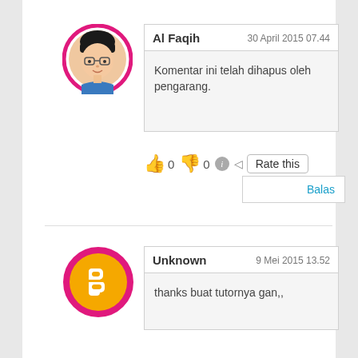[Figure (illustration): Avatar of Al Faqih — cartoon face with glasses, pink circular border]
Al Faqih    30 April 2015 07.44
Komentar ini telah dihapus oleh pengarang.
👍 0 👎 0 ℹ️ ◁ Rate this
Balas
[Figure (logo): Blogger logo — orange circle with white B, pink border]
Unknown    9 Mei 2015 13.52
thanks buat tutornya gan,,